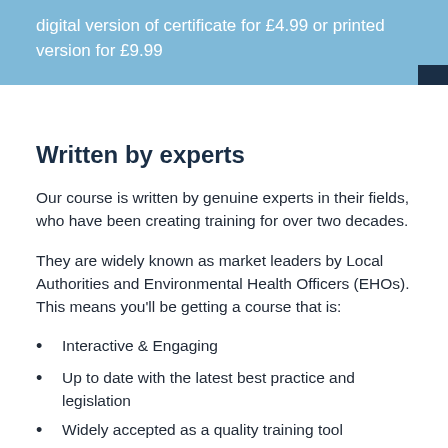digital version of certificate for £4.99 or printed version for £9.99
Written by experts
Our course is written by genuine experts in their fields, who have been creating training for over two decades.
They are widely known as market leaders by Local Authorities and Environmental Health Officers (EHOs). This means you'll be getting a course that is:
Interactive & Engaging
Up to date with the latest best practice and legislation
Widely accepted as a quality training tool